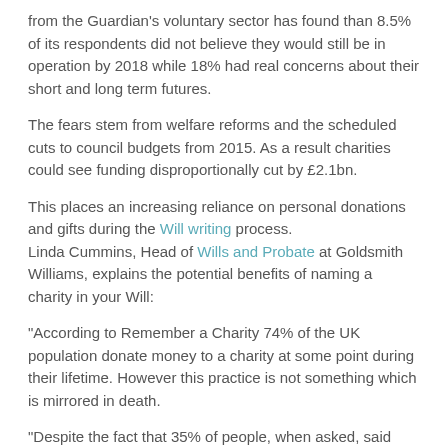from the Guardian's voluntary sector has found than 8.5% of its respondents did not believe they would still be in operation by 2018 while 18% had real concerns about their short and long term futures.
The fears stem from welfare reforms and the scheduled cuts to council budgets from 2015. As a result charities could see funding disproportionally cut by £2.1bn.
This places an increasing reliance on personal donations and gifts during the Will writing process. Linda Cummins, Head of Wills and Probate at Goldsmith Williams, explains the potential benefits of naming a charity in your Will:
“According to Remember a Charity 74% of the UK population donate money to a charity at some point during their lifetime. However this practice is not something which is mirrored in death.
“Despite the fact that 35% of people, when asked, said they would happily leave a charity a gift in their Will, only 7% actually go on and do so. However there are some